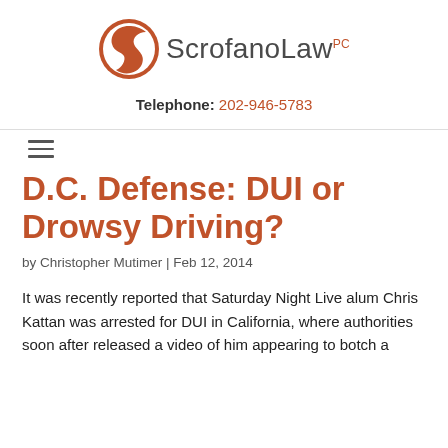[Figure (logo): ScrofanoLaw PC logo with orange circular S emblem and company name]
Telephone: 202-946-5783
D.C. Defense: DUI or Drowsy Driving?
by Christopher Mutimer | Feb 12, 2014
It was recently reported that Saturday Night Live alum Chris Kattan was arrested for DUI in California, where authorities soon after released a video of him appearing to botch a